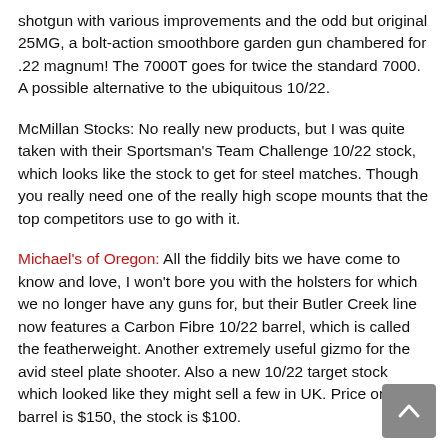shotgun with various improvements and the odd but original 25MG, a bolt-action smoothbore garden gun chambered for .22 magnum! The 7000T goes for twice the standard 7000. A possible alternative to the ubiquitous 10/22.
McMillan Stocks: No really new products, but I was quite taken with their Sportsman's Team Challenge 10/22 stock, which looks like the stock to get for steel matches. Though you really need one of the really high scope mounts that the top competitors use to go with it.
Michael's of Oregon: All the fiddily bits we have come to know and love, I won't bore you with the holsters for which we no longer have any guns for, but their Butler Creek line now features a Carbon Fibre 10/22 barrel, which is called the featherweight. Another extremely useful gizmo for the avid steel plate shooter. Also a new 10/22 target stock which looked like they might sell a few in UK. Price on the barrel is $150, the stock is $100.